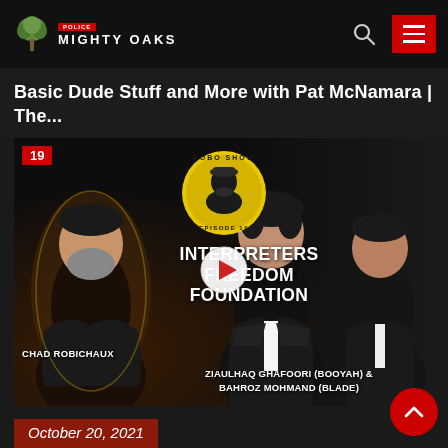MIGHTY OAKS
Basic Dude Stuff and More with Pat McNamara | The...
[Figure (screenshot): Video thumbnail for Robo Show Episode 19 featuring Chad Robichaux and Ziaulhaq Ghafoori (Booyah) & Bahroz Mohmand (Blade) discussing the Interpreters Freedom Foundation. Yellow circular logo at top center, play button overlay in center, three people visible.]
October 20, 2021